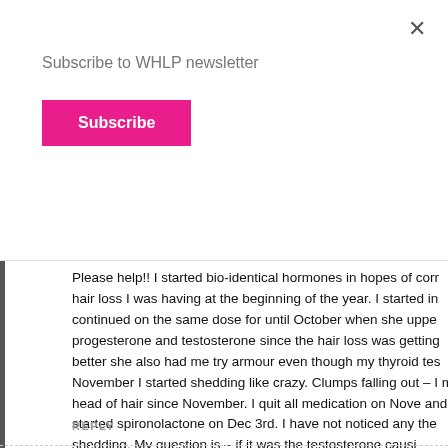Subscribe to WHLP newsletter
Subscribe
Please help!! I started bio-identical hormones in hopes of correcting the hair loss I was having at the beginning of the year. I started in… continued on the same dose for until October when she upped progesterone and testosterone since the hair loss was getting better she also had me try armour even though my thyroid tes… November I started shedding like crazy. Clumps falling out – I my head of hair since November. I quit all medication on Nove… and started spironolactone on Dec 3rd. I have not noticed any the shedding. My question is – if it was the testosterone causi… massive hair shedding how long until I will know if the spirono… working and how long do you think until all these hormones ar… system? Thank you, I am desperate for answers.. Going crazy
REPLY